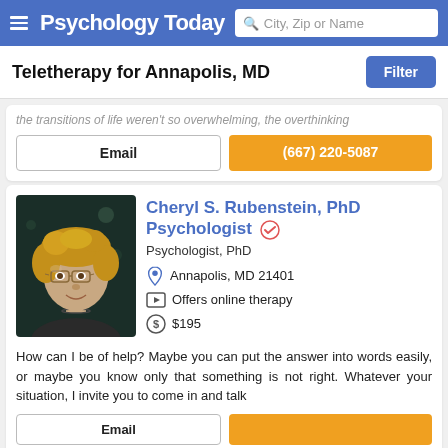Psychology Today — City, Zip or Name search bar
Teletherapy for Annapolis, MD
the transitions of life weren't so overwhelming, the overthinking
Email | (667) 220-5087
Cheryl S. Rubenstein, PhD Psychologist
Psychologist, PhD
Annapolis, MD 21401
Offers online therapy
$195
How can I be of help? Maybe you can put the answer into words easily, or maybe you know only that something is not right. Whatever your situation, I invite you to come in and talk